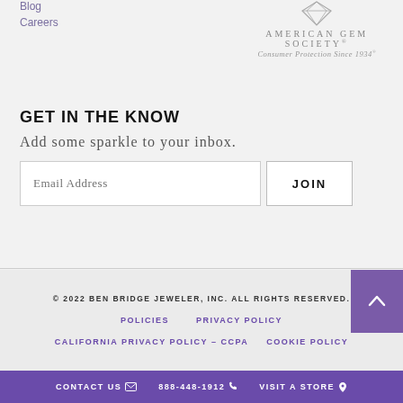Blog
Careers
[Figure (logo): American Gem Society diamond logo with text: AMERICAN GEM SOCIETY Consumer Protection Since 1934]
GET IN THE KNOW
Add some sparkle to your inbox.
Email Address [input field] JOIN [button]
© 2022 BEN BRIDGE JEWELER, INC. ALL RIGHTS RESERVED. POLICIES  PRIVACY POLICY  CALIFORNIA PRIVACY POLICY – CCPA  COOKIE POLICY
CONTACT US  888-448-1912  VISIT A STORE